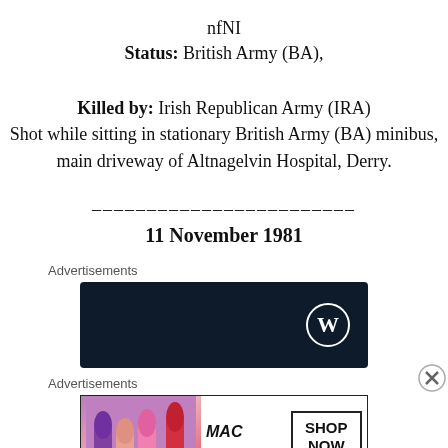nfNI
Status: British Army (BA),
Killed by: Irish Republican Army (IRA) Shot while sitting in stationary British Army (BA) minibus, main driveway of Altnagelvin Hospital, Derry.
________________________
11 November 1981
Advertisements
[Figure (other): Dark navy blue advertisement banner with WordPress logo (white circle with W) in the bottom right corner]
Advertisements
[Figure (other): MAC cosmetics advertisement showing colorful lipsticks on left and SHOP NOW button box on right]